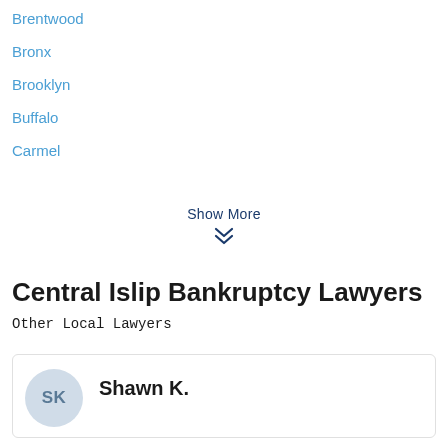Brentwood
Bronx
Brooklyn
Buffalo
Carmel
Show More
Central Islip Bankruptcy Lawyers
Other Local Lawyers
Shawn K.